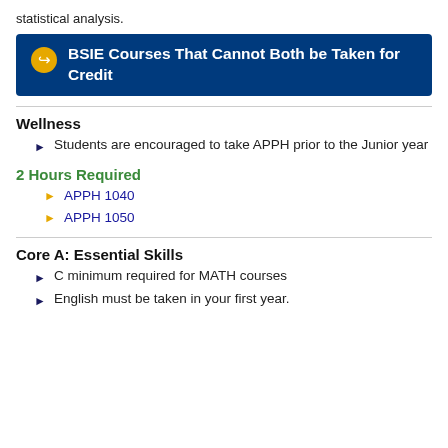statistical analysis.
BSIE Courses That Cannot Both be Taken for Credit
Wellness
Students are encouraged to take APPH prior to the Junior year
2 Hours Required
APPH 1040
APPH 1050
Core A: Essential Skills
C minimum required for MATH courses
English must be taken in your first year.